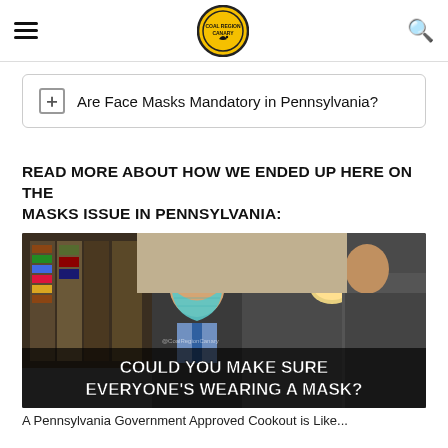Coal Region Canary — Are Face Masks Mandatory in Pennsylvania?
Are Face Masks Mandatory in Pennsylvania?
READ MORE ABOUT HOW WE ENDED UP HERE ON THE MASKS ISSUE IN PENNSYLVANIA:
[Figure (photo): A meme showing a man wearing a surgical face mask over his mouth with text overlay reading COULD YOU MAKE SURE EVERYONE'S WEARING A MASK?]
A Pennsylvania Government Approved Cookout is Like...